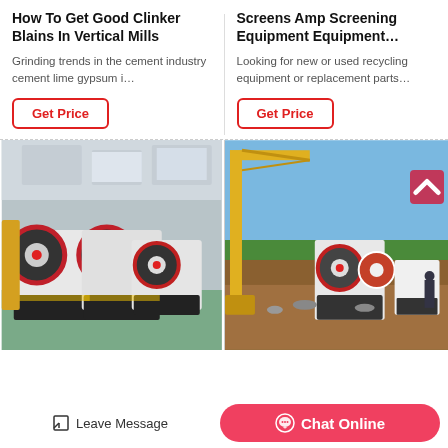How To Get Good Clinker Blains In Vertical Mills
Grinding trends in the cement industry cement lime gypsum i…
Get Price
Screens Amp Screening Equipment Equipment…
Looking for new or used recycling equipment or replacement parts…
Get Price
[Figure (photo): Industrial jaw crusher machines in a factory setting, white and red colored]
[Figure (photo): Jaw crusher equipment on outdoor construction/mining site with crane and green trees]
Leave Message
Chat Online